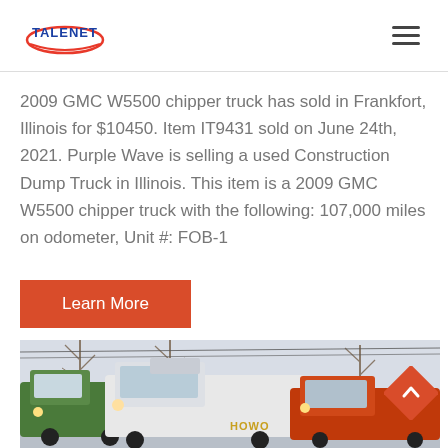TALENET
2009 GMC W5500 chipper truck has sold in Frankfort, Illinois for $10450. Item IT9431 sold on June 24th, 2021. Purple Wave is selling a used Construction Dump Truck in Illinois. This item is a 2009 GMC W5500 chipper truck with the following: 107,000 miles on odometer, Unit #: FOB-1
Learn More
[Figure (photo): Three large HOWO dump trucks parked side by side outdoors with bare trees in the background.]